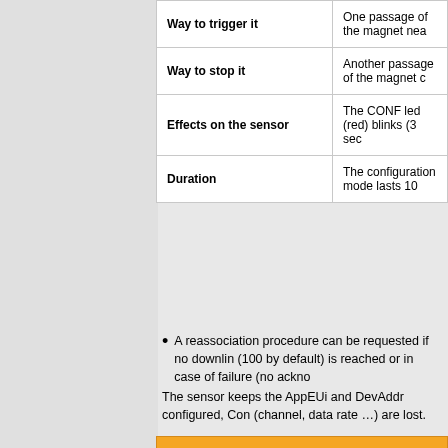|  |  |
| --- | --- |
| Way to trigger it | One passage of the magnet nea… |
| Way to stop it | Another passage of the magnet c… |
| Effects on the sensor | The CONF led (red) blinks (3 sec… |
| Duration | The configuration mode lasts 10… |
A reassociation procedure can be requested if no downlir… (100 by default) is reached or in case of failure (no ackno…
The sensor keeps the AppEUi and DevAddr configured, Con… (channel, data rate …) are lost.
|  |  |
| --- | --- |
| Way to trigger it | Three passages of the magna… |
| Effects on the sensor | The ASSN led (green) blinks a… |